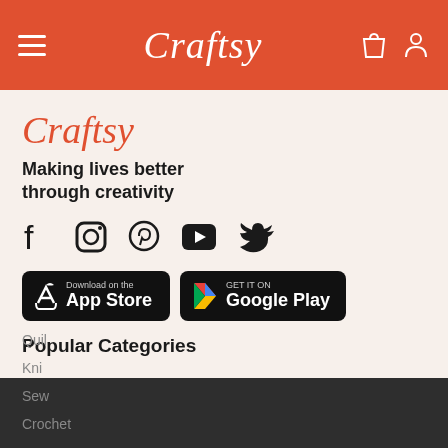Craftsy (navigation header with menu, logo, cart and user icons)
[Figure (logo): Craftsy script logo in orange/red color]
Making lives better through creativity
[Figure (infographic): Social media icons: Facebook, Instagram, Pinterest, YouTube, Twitter]
[Figure (infographic): Download on the App Store and Get it on Google Play badges]
Popular Categories
Access over 1,500 Premium classes
BECOME A MEMBER